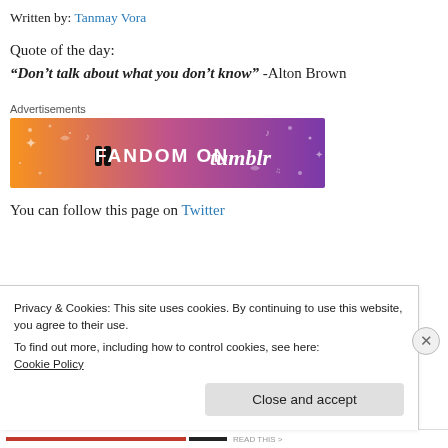Written by: Tanmay Vora
Quote of the day:
“Don’t talk about what you don’t know” -Alton Brown
[Figure (other): Fandom on Tumblr advertisement banner with orange-to-purple gradient and illustrated doodles]
You can follow this page on Twitter
Privacy & Cookies: This site uses cookies. By continuing to use this website, you agree to their use.
To find out more, including how to control cookies, see here: Cookie Policy